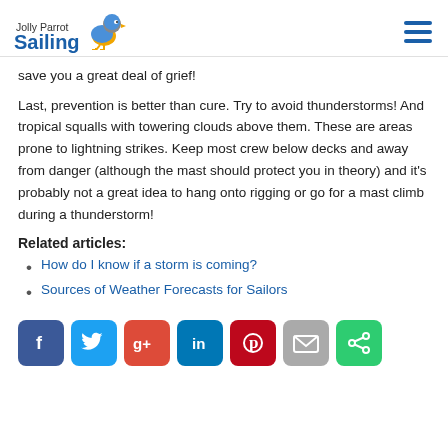Jolly Parrot Sailing
save you a great deal of grief!
Last, prevention is better than cure. Try to avoid thunderstorms! And tropical squalls with towering clouds above them. These are areas prone to lightning strikes. Keep most crew below decks and away from danger (although the mast should protect you in theory) and it's probably not a great idea to hang onto rigging or go for a mast climb during a thunderstorm!
Related articles:
How do I know if a storm is coming?
Sources of Weather Forecasts for Sailors
[Figure (infographic): Social media sharing buttons: Facebook, Twitter, Google+, LinkedIn, Pinterest, Email, Share]